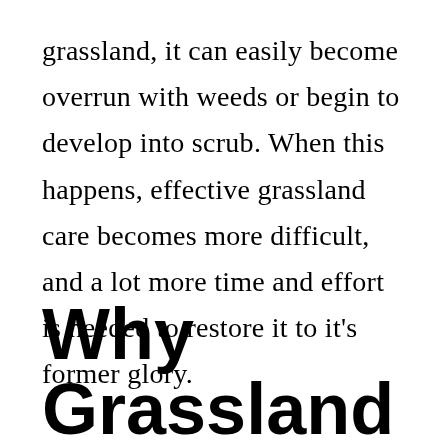grassland, it can easily become overrun with weeds or begin to develop into scrub. When this happens, effective grassland care becomes more difficult, and a lot more time and effort is needed to restore it to it's former glory.
Why Grassland